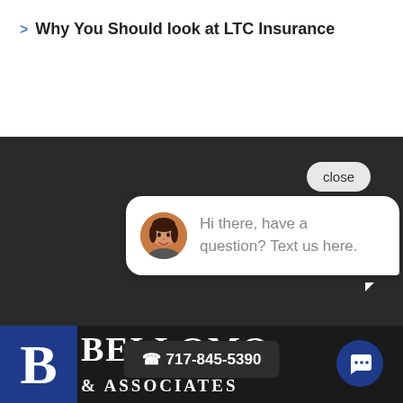> Why You Should look at LTC Insurance
[Figure (screenshot): Dark background UI section with a chat widget showing a 'close' button, a chat bubble with avatar and message 'Hi there, have a question? Text us here.', and a bottom bar with Bellomo & Associates logo, phone number 717-845-5390, and a chat icon button.]